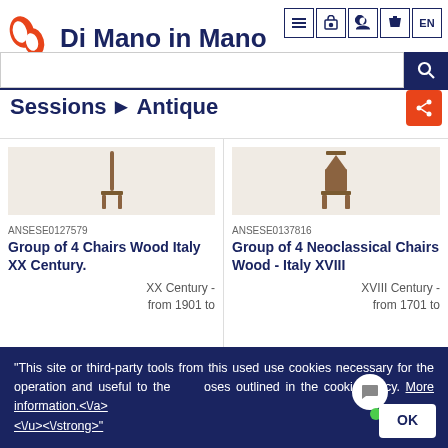Di Mano in Mano
Sessions ▶ Antique
ANSESE0127579 Group of 4 Chairs Wood Italy XX Century. XX Century - from 1901 to
ANSESE0137816 Group of 4 Neoclassical Chairs Wood - Italy XVIII. XVIII Century - from 1701 to
"This site or third-party tools from this used use cookies necessary for the operation and useful to the purposes outlined in the cookie policy. More information.<\/a> <\/u><\/strong>"